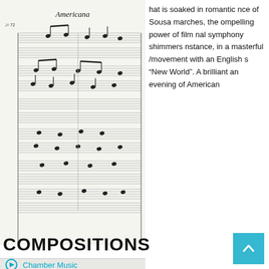[Figure (illustration): Sheet music score titled 'Americana' with multiple staves showing orchestral notation on a light background]
...at is soaked in romantic nce of Sousa marches, the ompelling power of film nal symphony shimmers nstance, in a masterful /movement with an English s "New World". A brilliant an evening of American
COMPOSITIONS
Chamber Music
Chamber Music with Voice
Choir
Orchestral Music
Solo Concertos
Music Theater
Arrangements